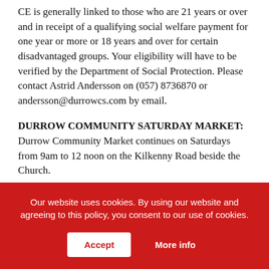CE is generally linked to those who are 21 years or over and in receipt of a qualifying social welfare payment for one year or more or 18 years and over for certain disadvantaged groups. Your eligibility will have to be verified by the Department of Social Protection. Please contact Astrid Andersson on (057) 8736870 or andersson@durrowcs.com by email.
DURROW COMMUNITY SATURDAY MARKET: Durrow Community Market continues on Saturdays from 9am to 12 noon on the Kilkenny Road beside the Church.
LIVE LOCAL WEATHER:
Our website uses cookies. By using our website and agreeing to this policy, you consent to our use of cookies.